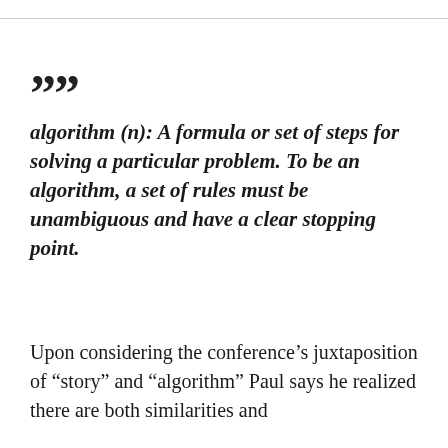““
algorithm (n): A formula or set of steps for solving a particular problem. To be an algorithm, a set of rules must be unambiguous and have a clear stopping point.
Upon considering the conference’s juxtaposition of “story” and “algorithm” Paul says he realized there are both similarities and differences between them...